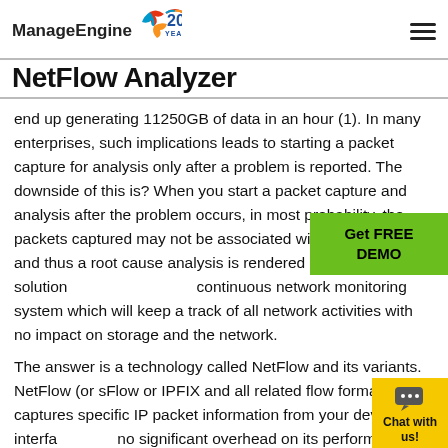ManageEngine NetFlow Analyzer
end up generating 11250GB of data in an hour (1). In many enterprises, such implications leads to starting a packet capture for analysis only after a problem is reported. The downside of this is? When you start a packet capture and analysis after the problem occurs, in most probability, the packets captured may not be associated with the problem and thus a root cause analysis is rendered impossible. The solution continuous network monitoring system which will keep a track of all network activities with no impact on storage and the network.
The answer is a technology called NetFlow and its variants. NetFlow (or sFlow or IPFIX and all related flow formats) captures specific IP packet information from your device interfa no significant overhead on its performance or bandwic same time it gives visibility into the WHO, WHAT, WHEN and